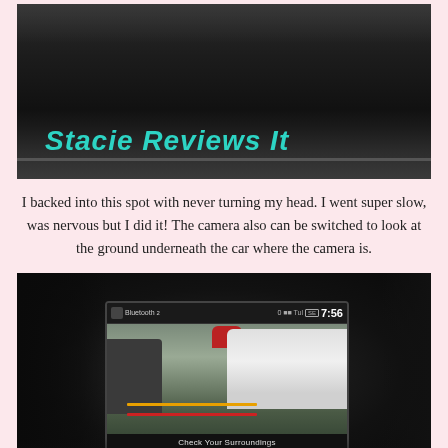[Figure (photo): Car dashboard interior photo with 'Stacie Reviews It' text overlay in teal/cyan bold italic font on dark background]
I backed into this spot with never turning my head. I went super slow, was nervous but I did it! The camera also can be switched to look at the ground underneath the car where the camera is.
[Figure (photo): Car interior photo showing a navigation/camera screen displaying a rear-view camera feed of a parking lot with other cars visible. Screen shows 'Bluetooth', time '7:56', 'SE' badge, and 'Check Your Surroundings' text at the bottom.]